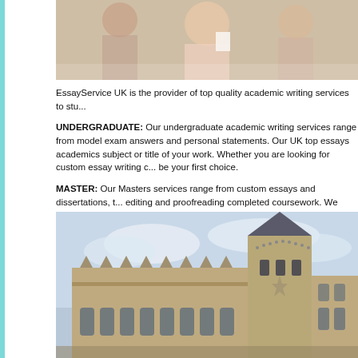[Figure (photo): Photo of students or graduates at top of page, partially cropped]
EssayService UK is the provider of top quality academic writing services to stu...
UNDERGRADUATE: Our undergraduate academic writing services range from... model exam answers and personal statements. Our UK top essays academics... subject or title of your work. Whether you are looking for custom essay writing c... be your first choice.
MASTER: Our Masters services range from custom essays and dissertations, t... editing and proofreading completed coursework. We have writers on all subject... we are available to assist you. For more information on the support offered by E...
[Figure (photo): Photo of a Gothic-style university building (Oxford style) against a cloudy sky]